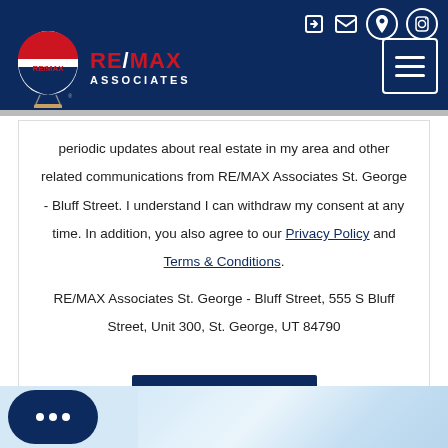[Figure (logo): RE/MAX Associates logo with hot air balloon graphic and navigation header on dark navy background with social icons and hamburger menu]
periodic updates about real estate in my area and other related communications from RE/MAX Associates St. George - Bluff Street. I understand I can withdraw my consent at any time. In addition, you also agree to our Privacy Policy and Terms & Conditions.
RE/MAX Associates St. George - Bluff Street, 555 S Bluff Street, Unit 300, St. George, UT 84790
Contact Us →
[Figure (photo): Chat bubble widget on bottom left corner with three dots, and partial photo of building/architecture on bottom right]